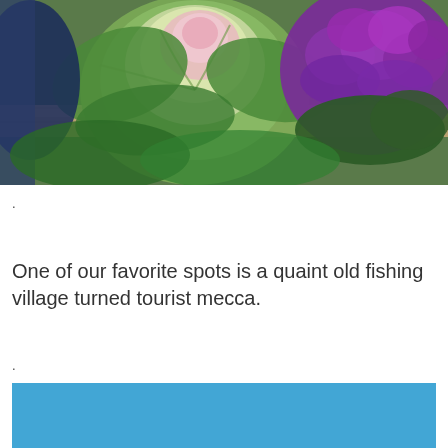[Figure (photo): Photo of ornamental kale or cabbage plants on a wooden railing — a large pale green/pink flowering cabbage on the left and vibrant purple/magenta curly kale on the right, with green foliage throughout.]
.
One of our favorite spots is a quaint old fishing village turned tourist mecca.
.
[Figure (photo): Partially visible blue sky photograph at the bottom of the page.]